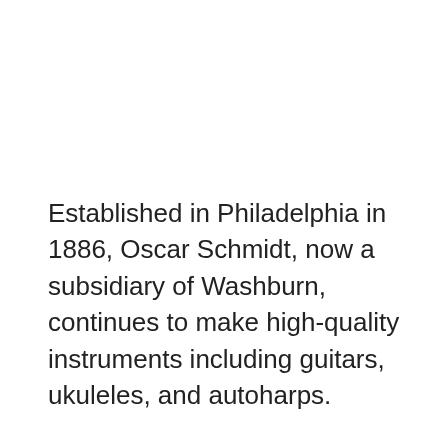Established in Philadelphia in 1886, Oscar Schmidt, now a subsidiary of Washburn, continues to make high-quality instruments including guitars, ukuleles, and autoharps.
Most of the Oscar Schmidy ukuleles come with everything you need out of the box including case, tuner, polishing cloth, and DVD to teach you how to play.